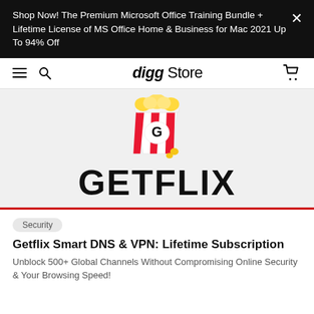Shop Now! The Premium Microsoft Office Training Bundle + Lifetime License of MS Office Home & Business for Mac 2021 Up To 94% Off
digg Store
[Figure (logo): Getflix logo: popcorn bucket with red and white stripes and the letter G in a white oval, with yellow popcorn kernels, above the text GETFLIX in large bold black letters]
Security
Getflix Smart DNS & VPN: Lifetime Subscription
Unblock 500+ Global Channels Without Compromising Online Security & Your Browsing Speed!